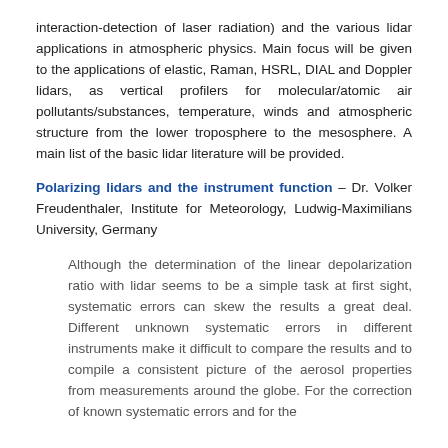interaction-detection of laser radiation) and the various lidar applications in atmospheric physics. Main focus will be given to the applications of elastic, Raman, HSRL, DIAL and Doppler lidars, as vertical profilers for molecular/atomic air pollutants/substances, temperature, winds and atmospheric structure from the lower troposphere to the mesosphere. A main list of the basic lidar literature will be provided.
Polarizing lidars and the instrument function – Dr. Volker Freudenthaler, Institute for Meteorology, Ludwig-Maximilians University, Germany
Although the determination of the linear depolarization ratio with lidar seems to be a simple task at first sight, systematic errors can skew the results a great deal. Different unknown systematic errors in different instruments make it difficult to compare the results and to compile a consistent picture of the aerosol properties from measurements around the globe. For the correction of known systematic errors and for the estimation of the uncertainty of the correction, a first step...